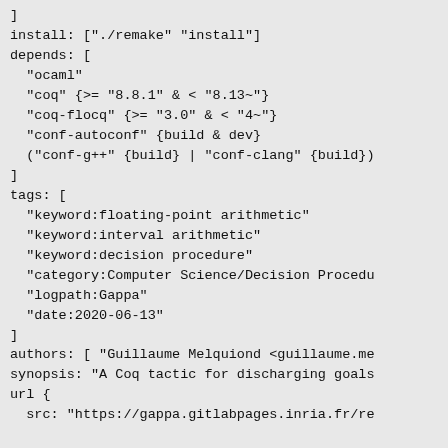]
install: ["./remake" "install"]
depends: [
  "ocaml"
  "coq" {>= "8.8.1" & < "8.13~"}
  "coq-flocq" {>= "3.0" & < "4~"}
  "conf-autoconf" {build & dev}
  ("conf-g++" {build} | "conf-clang" {build})
]
tags: [
  "keyword:floating-point arithmetic"
  "keyword:interval arithmetic"
  "keyword:decision procedure"
  "category:Computer Science/Decision Procedu
  "logpath:Gappa"
  "date:2020-06-13"
]
authors: [ "Guillaume Melquiond <guillaume.me
synopsis: "A Coq tactic for discharging goals
url {
  src: "https://gappa.gitlabpages.inria.fr/re